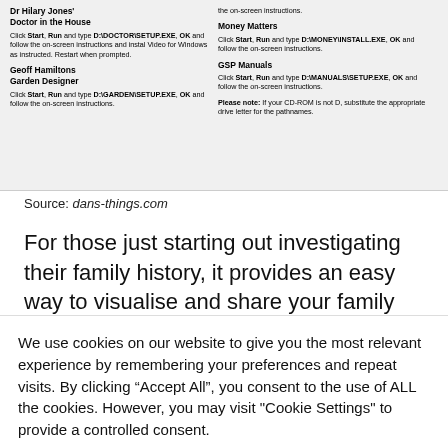[Figure (screenshot): Screenshot of a document page showing software installation instructions for Dr Hilary Jones' Doctor in the House, Geoff Hamiltons Garden Designer, Money Matters, and GSP Manuals CD-ROM programs, with a note about substituting drive letters.]
Source: dans-things.com
For those just starting out investigating their family history, it provides an easy way to visualise and share your family tree with photos, stories and basic facts about each person.
We use cookies on our website to give you the most relevant experience by remembering your preferences and repeat visits. By clicking “Accept All”, you consent to the use of ALL the cookies. However, you may visit "Cookie Settings" to provide a controlled consent.